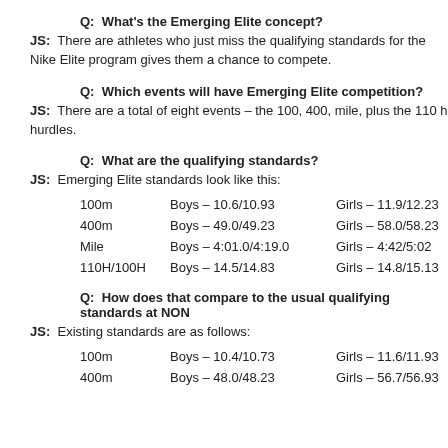Q:  What's the Emerging Elite concept?
JS:  There are athletes who just miss the qualifying standards for the Nike Elite program gives them a chance to compete.
Q:  Which events will have Emerging Elite competition?
JS:  There are a total of eight events – the 100, 400, mile, plus the 110 h hurdles.
Q:  What are the qualifying standards?
JS:  Emerging Elite standards look like this:
| Event | Boys | Girls |
| --- | --- | --- |
| 100m | Boys – 10.6/10.93 | Girls – 11.9/12.23 |
| 400m | Boys – 49.0/49.23 | Girls – 58.0/58.23 |
| Mile | Boys – 4:01.0/4:19.0 | Girls – 4:42/5:02 |
| 110H/100H | Boys – 14.5/14.83 | Girls – 14.8/15.13 |
Q:  How does that compare to the usual qualifying standards at NON
JS:  Existing standards are as follows:
| Event | Boys | Girls |
| --- | --- | --- |
| 100m | Boys – 10.4/10.73 | Girls – 11.6/11.93 |
| 400m | Boys – 48.0/48.23 | Girls – 56.7/56.93 |